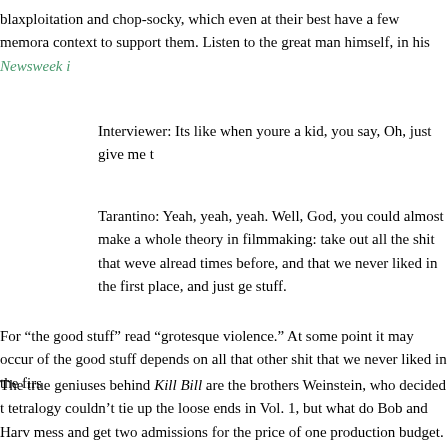blaxploitation and chop-socky, which even at their best have a few memora context to support them. Listen to the great man himself, in his Newsweek i
Interviewer: Its like when youre a kid, you say, Oh, just give me t
Tarantino: Yeah, yeah, yeah. Well, God, you could almost make a whole theory in filmmaking: take out all the shit that weve alread times before, and that we never liked in the first place, and just ge stuff.
For “the good stuff” read “grotesque violence.” At some point it may occur of the good stuff depends on all that other shit that we never liked in the firs
The true geniuses behind Kill Bill are the brothers Weinstein, who decided t tetralogy couldn’t tie up the loose ends in Vol. 1, but what do Bob and Harv mess and get two admissions for the price of one production budget. By the February, Tarantino’s fans will have forgotten that the package is nonsense,